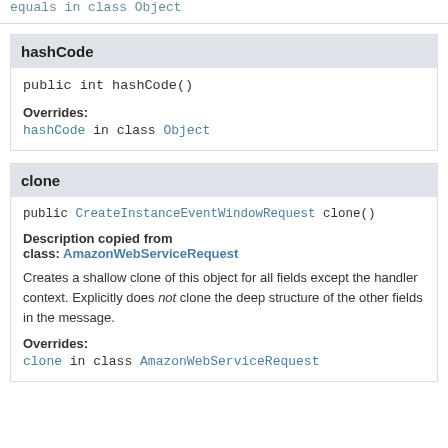equals in class Object
hashCode
public int hashCode()
Overrides:
hashCode in class Object
clone
public CreateInstanceEventWindowRequest clone()
Description copied from class: AmazonWebServiceRequest
Creates a shallow clone of this object for all fields except the handler context. Explicitly does not clone the deep structure of the other fields in the message.
Overrides:
clone in class AmazonWebServiceRequest